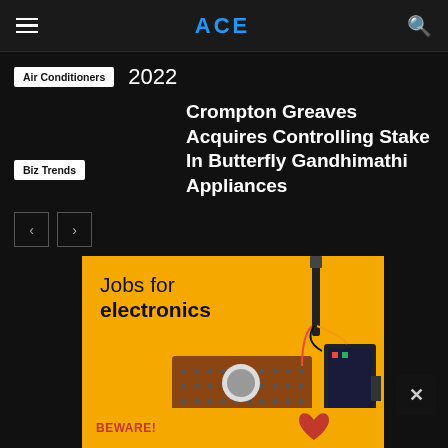ACE
Air Conditioners
2022
Biz Trends
Crompton Greaves Acquires Controlling Stake In Butterfly Gandhimathi Appliances
[Figure (photo): Advertisement banner with yellow background showing 'Jobs for electronics' text and electronic circuit board components. Bottom strip shows 'BEWARE!' text in red.]